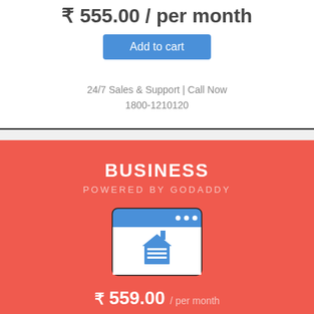₹ 555.00 / per month
Add to cart
24/7 Sales & Support | Call Now
1800-1210120
BUSINESS
POWERED BY GODADDY
[Figure (illustration): Browser window icon with a blue header bar showing three dots (navigation), and a white content area featuring a blue house/building icon above horizontal lines, representing a business website.]
₹ 559.00 / per month
Add to cart (partially visible)